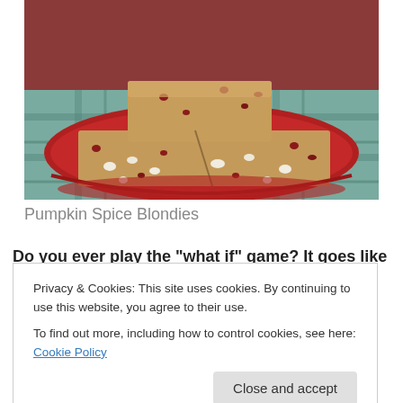[Figure (photo): Photo of pumpkin spice blondies stacked on a red plate, on a teal checkered cloth background. The blondies are golden-brown bars with visible cranberries and white chocolate chips.]
Pumpkin Spice Blondies
Do you ever play the "what if" game? It goes like
Privacy & Cookies: This site uses cookies. By continuing to use this website, you agree to their use.
To find out more, including how to control cookies, see here: Cookie Policy
Close and accept